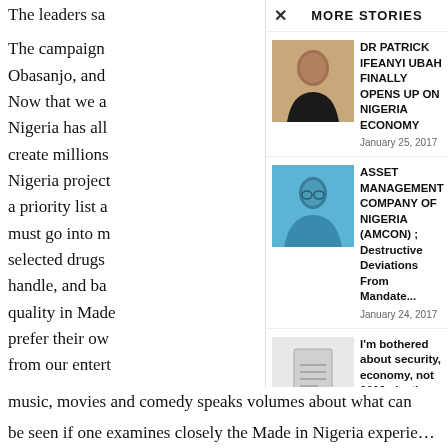The leaders sa...
The campaign...
Obasanjo, and...
Now that we a...
Nigeria has all...
create millions...
Nigeria project...
a priority list a...
must go into m...
selected drugs...
handle, and b...
quality in Made...
prefer their ow...
from our entert...
MORE STORIES
[Figure (photo): Portrait photo of Dr Patrick Ifeanyi Ubah]
DR PATRICK IFEANYI UBAH FINALLY OPENS UP ON NIGERIA ECONOMY
January 25, 2017
[Figure (photo): Portrait photo of person in blue shirt related to AMCON article]
ASSET MANAGEMENT COMPANY OF NIGERIA (AMCON) ; Destructive Deviations From Mandate...
January 24, 2017
[Figure (illustration): Document/article placeholder icon]
I'm bothered about security, economy, not 2019 elections, says Buhari
April 17, 2018
music, movies and comedy speaks volumes about what can
be seen if one examines closely the Made in Nigeria experience